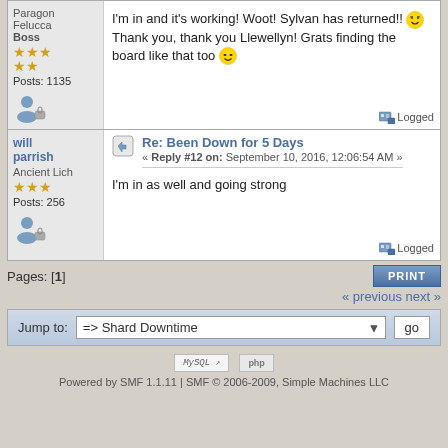Paragon Felucca Boss
Posts: 1135
I'm in and it's working! Woot! Sylvan has returned!! Thank you, thank you Llewellyn! Grats finding the board like that too
Logged
Re: Been Down for 5 Days
« Reply #12 on: September 10, 2016, 12:06:54 AM »
will parrish
Ancient Lich
Posts: 256
I'm in as well and going strong
Logged
Pages: [1]
« previous next »
Jump to: => Shard Downtime  go
Powered by SMF 1.1.11 | SMF © 2006-2009, Simple Machines LLC